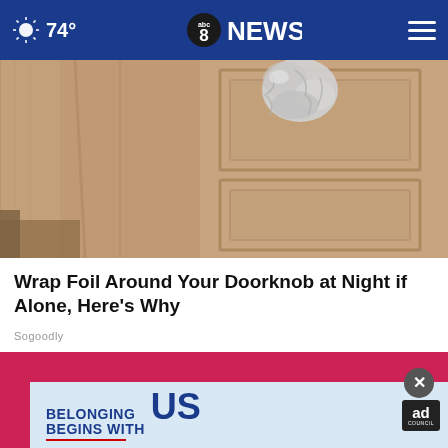74° abc8NEWS
[Figure (photo): Close-up of a wooden door knob wrapped in aluminum foil]
Wrap Foil Around Your Doorknob at Night if Alone, Here's Why
Sogoodly
[Figure (photo): Person wearing pink/red shirt and jeans, torso visible]
[Figure (other): Ad banner: BELONGING BEGINS WITH US - Ad Council]